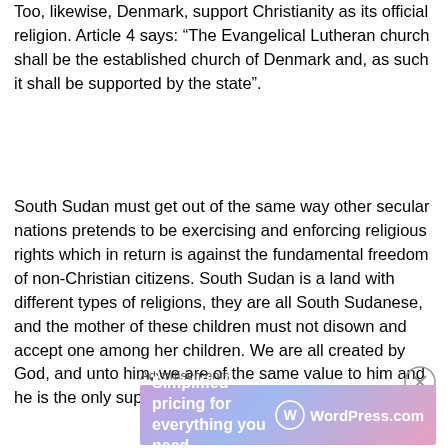Too, likewise, Denmark, support Christianity as its official religion. Article 4 says: “The Evangelical Lutheran church shall be the established church of Denmark and, as such it shall be supported by the state”.
South Sudan must get out of the same way other secular nations pretends to be exercising and enforcing religious rights which in return is against the fundamental freedom of non-Christian citizens. South Sudan is a land with different types of religions, they are all South Sudanese, and the mother of these children must not disown and accept one among her children. We are all created by God, and unto him, we are of the same value to him and he is the only supreme judge to all the mankind.
Advertisements
[Figure (other): Advertisement banner for WordPress.com with text 'Simplified pricing for everything you need.' and WordPress.com logo on a gradient purple-pink background]